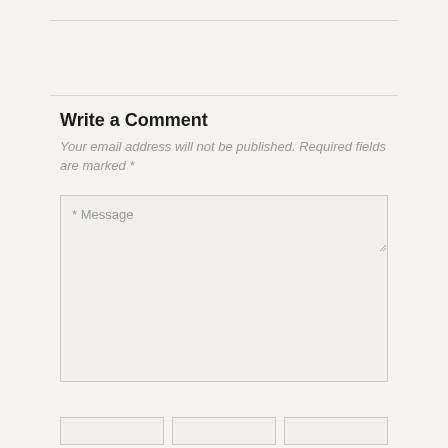Write a Comment
Your email address will not be published. Required fields are marked *
* Message
* Name    * Email    * Website